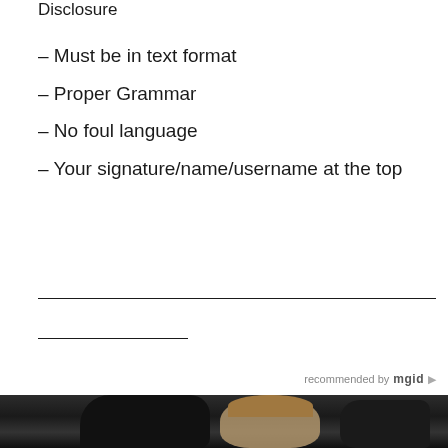Disclosure
– Must be in text format
– Proper Grammar
– No foul language
– Your signature/name/username at the top
____________________________________________________________
___________
recommended by mgid
[Figure (photo): A photo of people, possibly at a social gathering. A young man with light hair is smiling, surrounded by other people in dark clothing.]